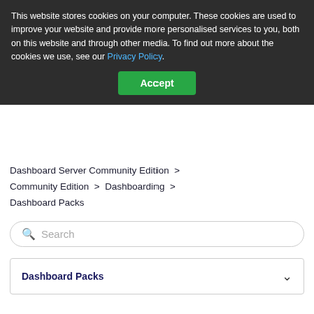This website stores cookies on your computer. These cookies are used to improve your website and provide more personalised services to you, both on this website and through other media. To find out more about the cookies we use, see our Privacy Policy.
Accept
Dashboard Server Community Edition > Community Edition > Dashboarding > Dashboard Packs
Search
Dashboard Packs
Dashboard Pack - Salesforce